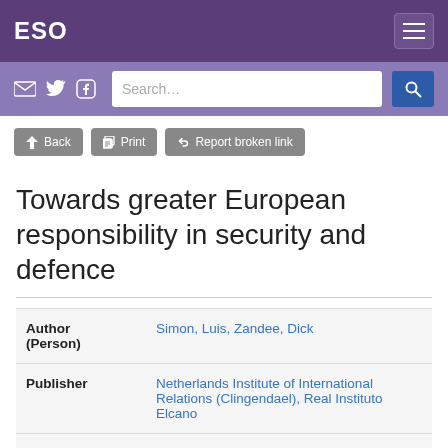ESO
Towards greater European responsibility in security and defence
| Field | Value |
| --- | --- |
| Author (Person) | Simon, Luis, Zandee, Dick |
| Publisher | Netherlands Institute of International Relations (Clingendael), Real Instituto Elcano |
| Series Title | Analyses of the Elcano Royal Institute (ARI) |